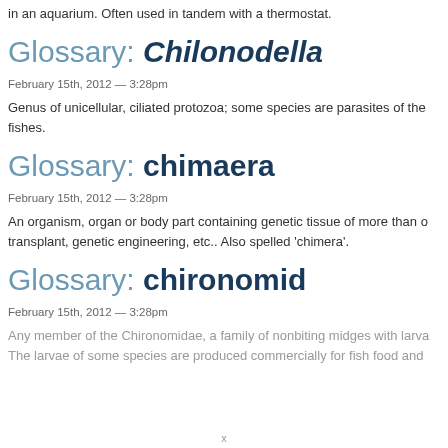in an aquarium. Often used in tandem with a thermostat.
Glossary: Chilonodella
February 15th, 2012 — 3:28pm
Genus of unicellular, ciliated protozoa; some species are parasites of the fishes.
Glossary: chimaera
February 15th, 2012 — 3:28pm
An organism, organ or body part containing genetic tissue of more than o transplant, genetic engineering, etc.. Also spelled 'chimera'.
Glossary: chironomid
February 15th, 2012 — 3:28pm
Any member of the Chironomidae, a family of nonbiting midges with larva The larvae of some species are produced commercially for fish food and